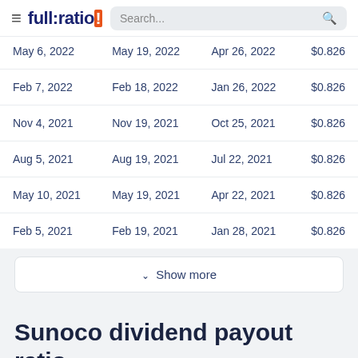full:ratio | Search...
| May 6, 2022 | May 19, 2022 | Apr 26, 2022 | $0.826 |
| Feb 7, 2022 | Feb 18, 2022 | Jan 26, 2022 | $0.826 |
| Nov 4, 2021 | Nov 19, 2021 | Oct 25, 2021 | $0.826 |
| Aug 5, 2021 | Aug 19, 2021 | Jul 22, 2021 | $0.826 |
| May 10, 2021 | May 19, 2021 | Apr 22, 2021 | $0.826 |
| Feb 5, 2021 | Feb 19, 2021 | Jan 28, 2021 | $0.826 |
∨ Show more
Sunoco dividend payout ratio
What is Sunoco dividend payout ratio compared to the sector